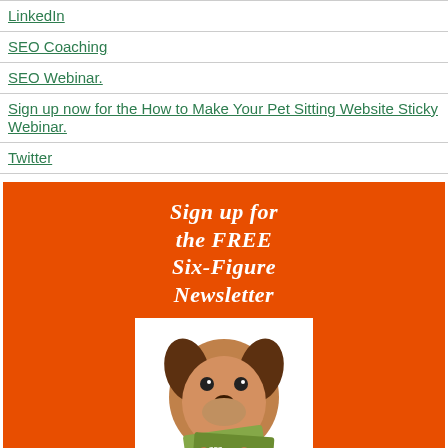LinkedIn
SEO Coaching
SEO Webinar.
Sign up now for the How to Make Your Pet Sitting Website Sticky Webinar.
Twitter
[Figure (infographic): Orange promotional banner with title 'Sign up for the FREE Six-Figure Newsletter', an image of a dog holding money, text 'Sign up for the FREE Pet Sitting Business Tips and Tools Newsletter:', and a 'Join Now' button.]